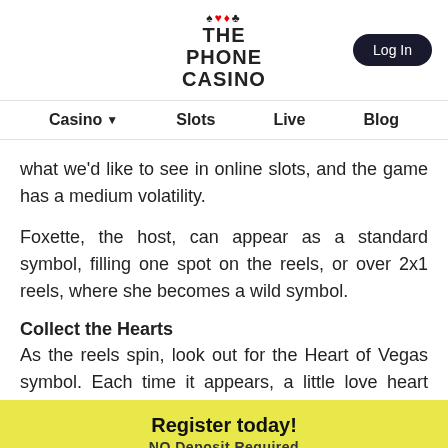THE PHONE CASINO | Log In
Casino ▾  Slots  Live  Blog
what we'd like to see in online slots, and the game has a medium volatility.
Foxette, the host, can appear as a standard symbol, filling one spot on the reels, or over 2x1 reels, where she becomes a wild symbol.
Collect the Hearts
As the reels spin, look out for the Heart of Vegas symbol. Each time it appears, a little love heart rises
Register today!
NO Deposit Required
Login  Register